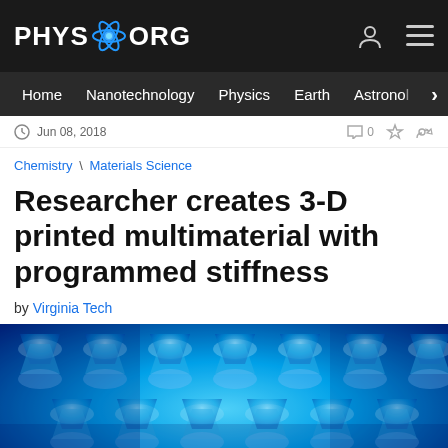PHYS.ORG
Home | Nanotechnology | Physics | Earth | Astronomy
Jun 08, 2018
Chemistry \ Materials Science
Researcher creates 3-D printed multimaterial with programmed stiffness
by Virginia Tech
[Figure (photo): Close-up photo of a blue 3-D printed multimaterial structure showing a repeating lattice/grid pattern with hourglass-shaped cells, illuminated in blue tones]